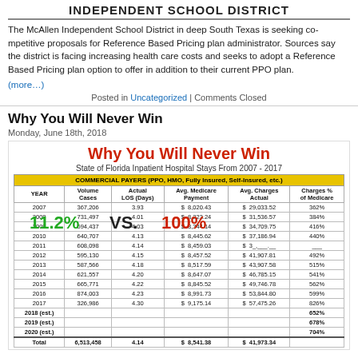INDEPENDENT SCHOOL DISTRICT
The McAllen Independent School District in deep South Texas is seeking competitive proposals for Reference Based Pricing plan administrator. Sources say the district is facing increasing health care costs and seeks to adopt a Reference Based Pricing plan option to offer in addition to their current PPO plan.
(more...)
Posted in Uncategorized | Comments Closed
Why You Will Never Win
Monday, June 18th, 2018
[Figure (table-as-image): Table showing State of Florida Inpatient Hospital Stays From 2007-2017 with commercial payers data including Volume Cases, Actual LOS (Days), Avg. Medicare Payment, Avg. Charges Actual, and Charges % of Medicare, with overlay text '11.2% VS 100%']
| YEAR | Volume Cases | Actual LOS (Days) | Avg. Medicare Payment | Avg. Charges Actual | Charges % of Medicare |
| --- | --- | --- | --- | --- | --- |
| 2007 | 367,206 | 3.93 | $ 8,020.43 | $ 29,033.52 | 362% |
| 2008 | 731,497 | 4.01 | $ 8,223.24 | $ 31,536.57 | 384% |
| 2009 | 694,437 | 4.03 | $ 8,344.14 | $ 34,709.75 | 416% |
| 2010 | 640,707 | 4.13 | $ 8,445.62 | $ 37,186.94 | 440% |
| 2011 | 608,098 | 4.14 | $ 8,459.03 | $ 39,______ | ___ |
| 2012 | 595,130 | 4.15 | $ 8,457.52 | $ 41,907.81 | 492% |
| 2013 | 587,566 | 4.18 | $ 8,517.59 | $ 43,907.58 | 515% |
| 2014 | 621,557 | 4.20 | $ 8,647.07 | $ 46,785.15 | 541% |
| 2015 | 665,771 | 4.22 | $ 8,845.52 | $ 49,746.78 | 562% |
| 2016 | 874,003 | 4.23 | $ 8,991.73 | $ 53,844.80 | 599% |
| 2017 | 326,986 | 4.30 | $ 9,175.14 | $ 57,475.26 | 826% |
| 2018 (est.) |  |  |  |  | 652% |
| 2019 (est.) |  |  |  |  | 678% |
| 2020 (est.) |  |  |  |  | 704% |
| Total | 6,513,458 | 4.14 | $ 8,541.38 | $ 41,973.34 |  |